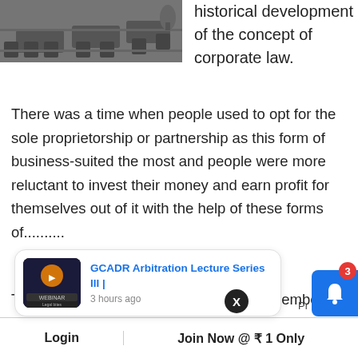[Figure (photo): Black and white photo of a modern office meeting room with chairs and tables]
historical development of the concept of corporate law.
There was a time when people used to opt for the sole proprietorship or partnership as this form of business-suited the most and people were more reluctant to invest their money and earn profit for themselves out of it with the help of these forms of..........
This content is for Aspirant and Veteran members
le Legal
[Figure (screenshot): Notification popup: GCADR Arbitration Lecture Series III | 3 hours ago, with webinar thumbnail]
Login
Join Now @ ₹ 1 Only